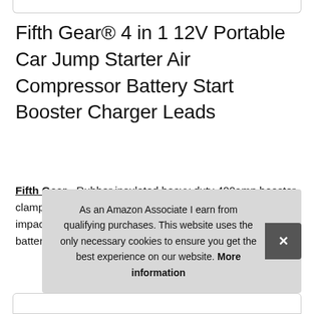Fifth Gear® 4 in 1 12V Portable Car Jump Starter Air Compressor Battery Start Booster Charger Leads
Fifth Gear - Rubber insulated heavy duty 400amp booster clamp. Built-in emergency work light. 400amp heavy duty impact resistant case. 400amps starting. Charging level, battery condition meter.
As an Amazon Associate I earn from qualifying purchases. This website uses the only necessary cookies to ensure you get the best experience on our website. More information